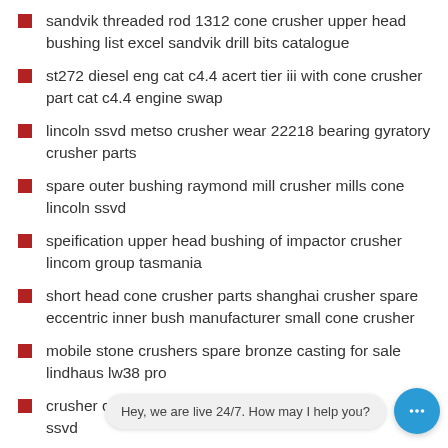sandvik threaded rod 1312 cone crusher upper head bushing list excel sandvik drill bits catalogue
st272 diesel eng cat c4.4 acert tier iii with cone crusher part cat c4.4 engine swap
lincoln ssvd metso crusher wear 22218 bearing gyratory crusher parts
spare outer bushing raymond mill crusher mills cone lincoln ssvd
speification upper head bushing of impactor crusher lincom group tasmania
short head cone crusher parts shanghai crusher spare eccentric inner bush manufacturer small cone crusher
mobile stone crushers spare bronze casting for sale lindhaus lw38 pro
crusher conveyo… …o ssvd